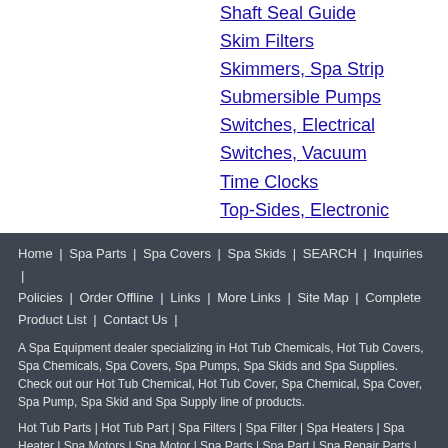Shaft Seal Guide
Skim Filters
Skimmers, Spa Strip
Submersible Pumps
Switches, Electrical
Switches, Vacuum
Time Clocks
Top-Sides, Electronic
Valves
Home | Spa Parts | Spa Covers | Spa Skids | SEARCH | Inquiries | Policies | Order Offline | Links | More Links | Site Map | Complete Product List | Contact Us
A Spa Equipment dealer specializing in Hot Tub Chemicals, Hot Tub Covers, Spa Chemicals, Spa Covers, Spa Pumps, Spa Skids and Spa Supplies. Check out our Hot Tub Chemical, Hot Tub Cover, Spa Chemical, Spa Cover, Spa Pump, Spa Skid and Spa Supply line of products.
Hot Tub Parts | Hot Tub Part | Spa Filters | Spa Filter | Spa Heaters | Spa Heater | Spa Motors | Spa Motor | Spa Parts | Spa Part | Spa Repair Parts | Spa Repair Part
We accept Visa, MasterCard, Checks, & Money Orders on all items and services.
Tulsa Web Design by: Ambitious Web